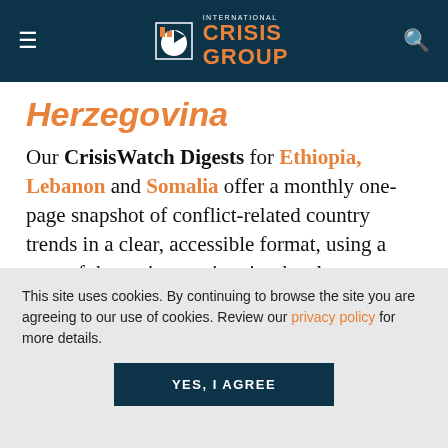International Crisis Group — navigation bar with logo
Herzegovina
Our CrisisWatch Digests for Ethiopia, Lebanon and Somalia offer a monthly one-page snapshot of conflict-related country trends in a clear, accessible format, using a map of the region to pinpoint developments:
This site uses cookies. By continuing to browse the site you are agreeing to our use of cookies. Review our privacy policy for more details.
YES, I AGREE